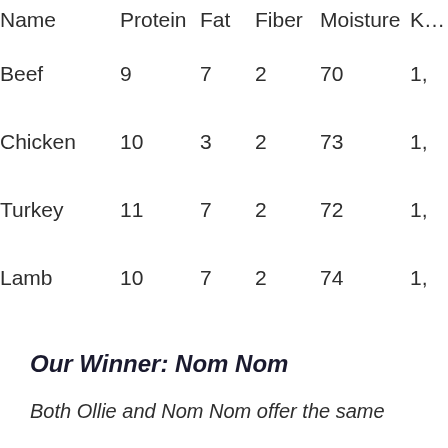| Name | Protein | Fat | Fiber | Moisture | K… |
| --- | --- | --- | --- | --- | --- |
| Beef | 9 | 7 | 2 | 70 | 1,… |
| Chicken | 10 | 3 | 2 | 73 | 1,… |
| Turkey | 11 | 7 | 2 | 72 | 1,… |
| Lamb | 10 | 7 | 2 | 74 | 1,… |
Our Winner: Nom Nom
Both Ollie and Nom Nom offer the same